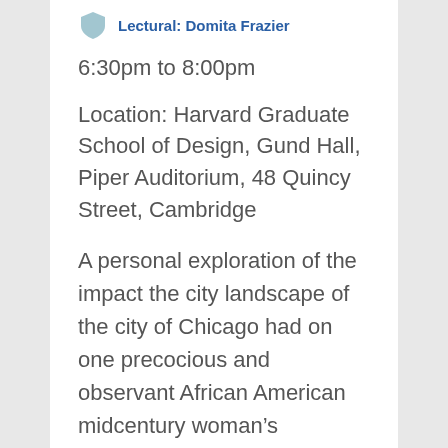Lectural: Domita Frazier
6:30pm to 8:00pm
Location: Harvard Graduate School of Design, Gund Hall, Piper Auditorium, 48 Quincy Street, Cambridge
A personal exploration of the impact the city landscape of the city of Chicago had on one precocious and observant African American midcentury woman’s aesthetic evolution. This talk, designed to raise questions without an expectation of finding answers, will hopefully provide the Harvard